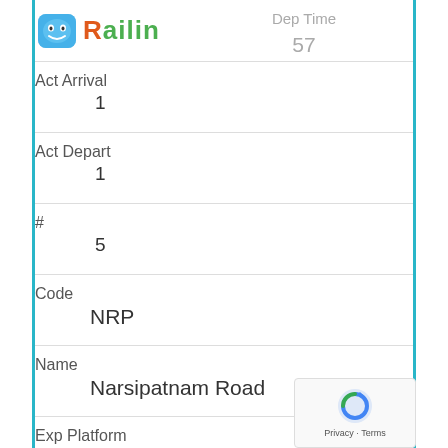[Figure (logo): Railin app logo with blue robot icon and green/orange text]
Dep Time
57
Act Arrival
1
Act Depart
1
#
5
Code
NRP
Name
Narsipatnam Road
Exp Platform
15.02
Arr Time
15.03
Dep Time
75